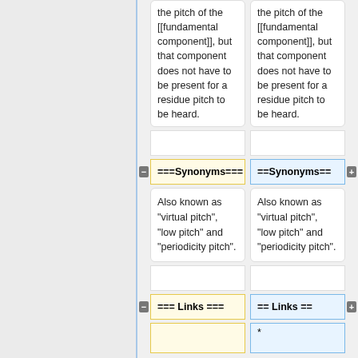the pitch of the [[fundamental component]], but that component does not have to be present for a residue pitch to be heard.
the pitch of the [[fundamental component]], but that component does not have to be present for a residue pitch to be heard.
===Synonyms===
==Synonyms==
Also known as "virtual pitch", "low pitch" and "periodicity pitch".
Also known as "virtual pitch", "low pitch" and "periodicity pitch".
=== Links ===
== Links ==
*